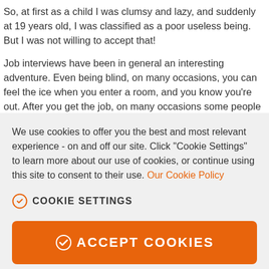So, at first as a child I was clumsy and lazy, and suddenly at 19 years old, I was classified as a poor useless being. But I was not willing to accept that!
Job interviews have been in general an interesting adventure. Even being blind, on many occasions, you can feel the ice when you enter a room, and you know you're out. After you get the job, on many occasions some people make you feel like you have to prove you are
We use cookies to offer you the best and most relevant experience - on and off our site. Click "Cookie Settings" to learn more about our use of cookies, or continue using this site to consent to their use. Our Cookie Policy
COOKIE SETTINGS
ACCEPT COOKIES